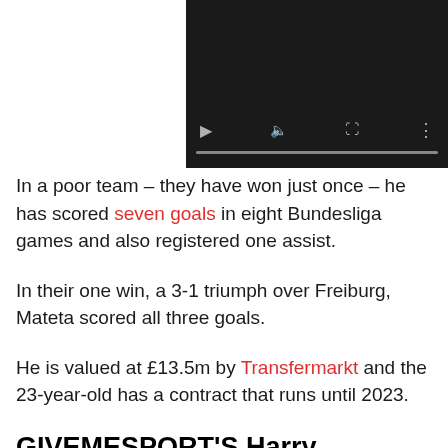[Figure (screenshot): Video player with dark background showing media controls: play button, mute button, fullscreen button, more options button, and a progress bar at the bottom.]
In a poor team – they have won just once – he has scored seven goals in eight Bundesliga games and also registered one assist.
In their one win, a 3-1 triumph over Freiburg, Mateta scored all three goals.
He is valued at £13.5m by Transfermarkt and the 23-year-old has a contract that runs until 2023.
GIVEMESPORT'S Harry Sherlock says…